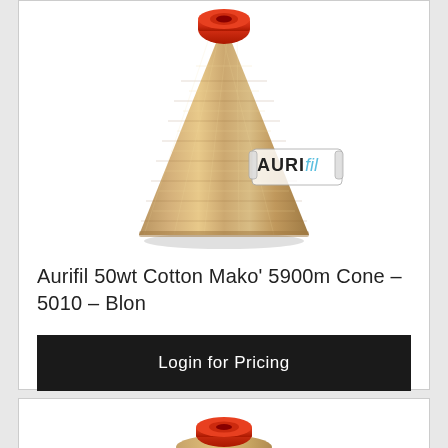[Figure (photo): A large cone of Aurifil 50wt Cotton Mako thread in a blonde/tan color with an orange top cap. The Aurifil logo watermark is visible on the right side of the cone.]
Aurifil 50wt Cotton Mako' 5900m Cone - 5010 - Blon
Login for Pricing
[Figure (photo): Partial view of a second Aurifil thread spool showing the orange top cap.]